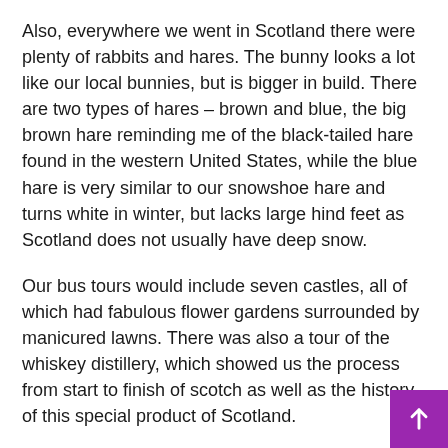Also, everywhere we went in Scotland there were plenty of rabbits and hares. The bunny looks a lot like our local bunnies, but is bigger in build. There are two types of hares – brown and blue, the big brown hare reminding me of the black-tailed hare found in the western United States, while the blue hare is very similar to our snowshoe hare and turns white in winter, but lacks large hind feet as Scotland does not usually have deep snow.
Our bus tours would include seven castles, all of which had fabulous flower gardens surrounded by manicured lawns. There was also a tour of the whiskey distillery, which showed us the process from start to finish of scotch as well as the history of this special product of Scotland.
Too soon we found ourselves traveling through the heather covered Highlands to Edinburgh. We would be staying at the Hilton Doubletree hotel next to the airport for our last two days. A short walk allowed us to board a tram, which took us various locations in Edinburgh. Various bus tours were also a